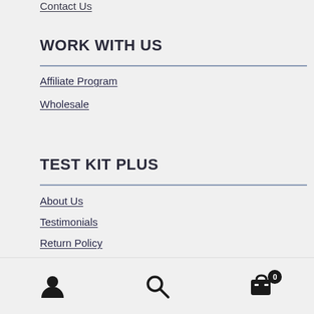Contact Us
WORK WITH US
Affiliate Program
Wholesale
TEST KIT PLUS
About Us
Testimonials
Return Policy
Terms & Conditions
Privacy Policy
User icon | Search icon | Cart (0)